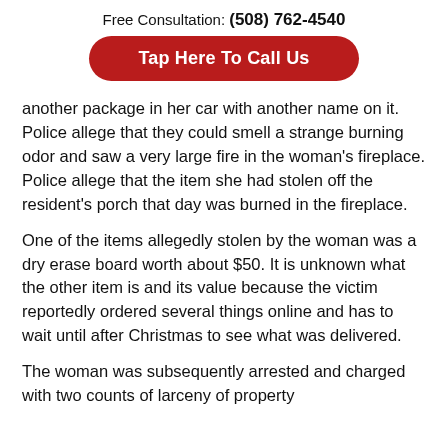Free Consultation: (508) 762-4540
Tap Here To Call Us
another package in her car with another name on it. Police allege that they could smell a strange burning odor and saw a very large fire in the woman's fireplace. Police allege that the item she had stolen off the resident's porch that day was burned in the fireplace.
One of the items allegedly stolen by the woman was a dry erase board worth about $50. It is unknown what the other item is and its value because the victim reportedly ordered several things online and has to wait until after Christmas to see what was delivered.
The woman was subsequently arrested and charged with two counts of larceny of property